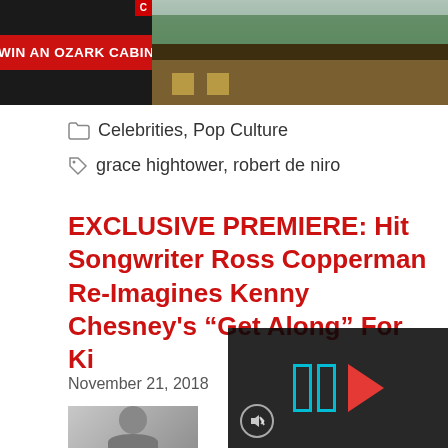[Figure (screenshot): Banner advertisement with red button reading 'WIN AN OZARK CABIN' on dark background with cabin photo on right]
Celebrities, Pop Culture
grace hightower, robert de niro
EXCLUSIVE PREMIERE: Hit Songwriter Ross Copperman Re-Imagines Kenny Chesney's "Get Along" For Ki
November 21, 2018
[Figure (screenshot): Video player overlay with cyan double-bar icons and red play triangle, mute button visible at bottom left]
[Figure (photo): Partial photo of a person at bottom left of page]